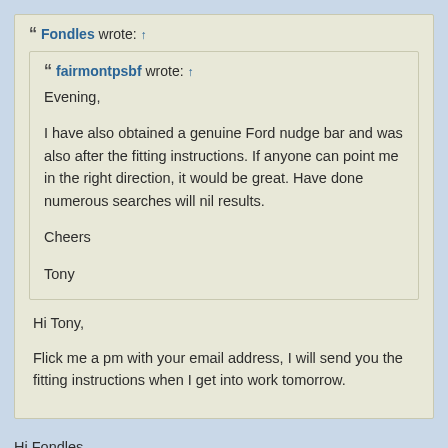Fondles wrote: ↑ [quoted message from fairmontpsbf] Evening, I have also obtained a genuine Ford nudge bar and was also after the fitting instructions. If anyone can point me in the right direction, it would be great. Have done numerous searches will nil results. Cheers Tony
Hi Tony, Flick me a pm with your email address, I will send you the fitting instructions when I get into work tomorrow.
Hi Fondles, Would really appreciate if you can flick me the instructions too. My email address is efrengn@gmail.com. Best regards